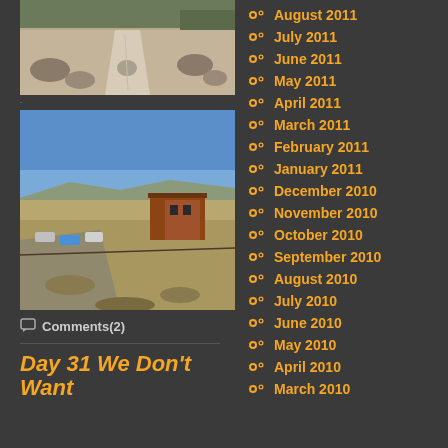[Figure (photo): Desert trail with gravel path and rocks, arid landscape with sparse vegetation]
[Figure (photo): Wide shot of a building on a hillside in high desert, blue sky background]
Comments(2)
Day 31 We Don't Want
August 2011
July 2011
June 2011
May 2011
April 2011
March 2011
February 2011
January 2011
December 2010
November 2010
October 2010
September 2010
August 2010
July 2010
June 2010
May 2010
April 2010
March 2010